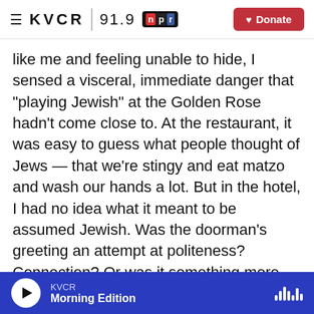≡ KVCR | 91.9 npr [Donate]
like me and feeling unable to hide, I sensed a visceral, immediate danger that "playing Jewish" at the Golden Rose hadn't come close to. At the restaurant, it was easy to guess what people thought of Jews — that we're stingy and eat matzo and wash our hands a lot. But in the hotel, I had no idea what it meant to be assumed Jewish. Was the doorman's greeting an attempt at politeness? Connection? Or was it something more coded? What did he really think of Jews — of me and my family? There was no way to tell.

I couldn't imagine what it would feel like to live full
KVCR  Morning Edition